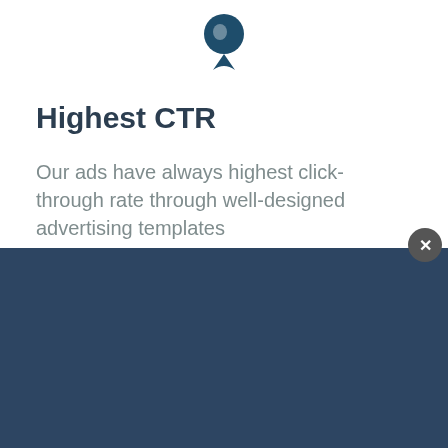[Figure (logo): Dark teal location pin / cursor icon logo at top center]
Highest CTR
Our ads have always highest click-through rate through well-designed advertising templates
By clicking "Accept All Cookies", you agree to the storing of cookies on your device to enhance site navigation, analyze site usage, and assist in our marketing efforts.
Accept All Cookies
Cookies Settings